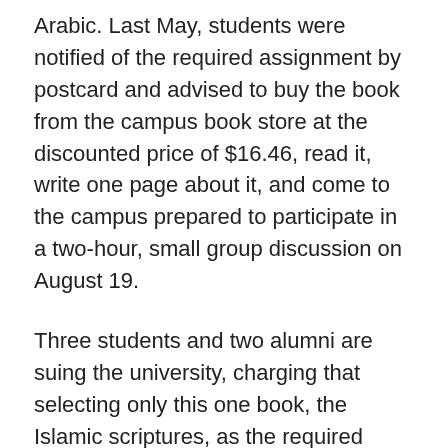Arabic. Last May, students were notified of the required assignment by postcard and advised to buy the book from the campus book store at the discounted price of $16.46, read it, write one page about it, and come to the campus prepared to participate in a two-hour, small group discussion on August 19.
Three students and two alumni are suing the university, charging that selecting only this one book, the Islamic scriptures, as the required reading for all incoming students, violates the establishment and free exercise clauses of the First Amendment. The suit, which was filed by the American Family Association Center for Law & Policy on July 22, names Chancellor James Moeser